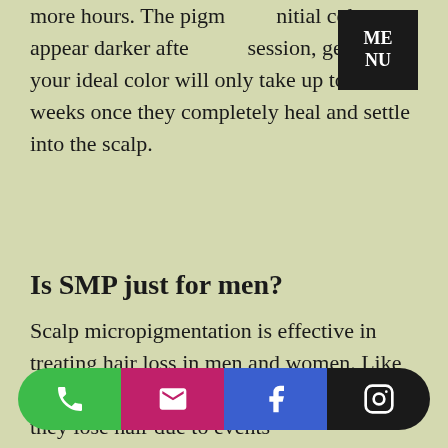more hours. The pigment's initial color may appear darker after each session, getting to your ideal color will only take up to 1-2 weeks once they completely heal and settle into the scalp.
[Figure (logo): Black square MENU button overlay in top right corner with white text reading ME NU]
Is SMP just for men?
Scalp micropigmentation is effective in treating hair loss in men and women. Like men, women can suffer from balding as they lose hair due to events s... more.
[Figure (infographic): Bottom navigation bar with four colored buttons: green phone icon, pink/magenta email icon, blue Facebook icon, black Instagram icon]